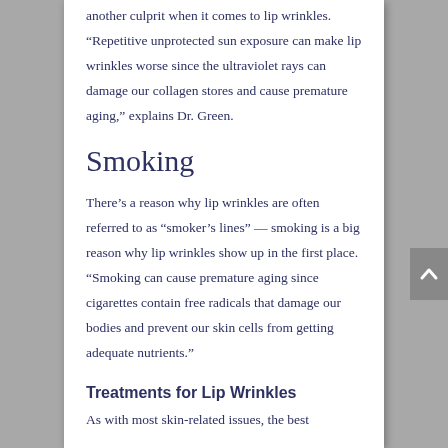another culprit when it comes to lip wrinkles. “Repetitive unprotected sun exposure can make lip wrinkles worse since the ultraviolet rays can damage our collagen stores and cause premature aging,” explains Dr. Green.
Smoking
There’s a reason why lip wrinkles are often referred to as “smoker’s lines” — smoking is a big reason why lip wrinkles show up in the first place. “Smoking can cause premature aging since cigarettes contain free radicals that damage our bodies and prevent our skin cells from getting adequate nutrients.”
Treatments for Lip Wrinkles
As with most skin-related issues, the best...